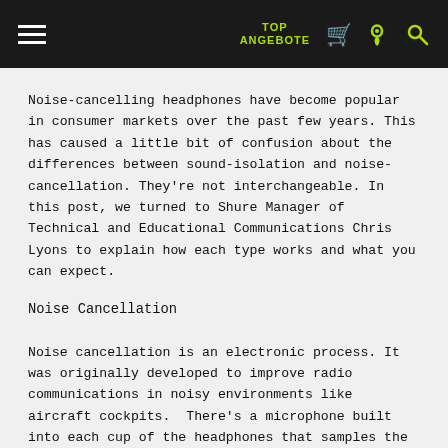TOP ANGEBOTE
Noise-cancelling headphones have become popular in consumer markets over the past few years. This has caused a little bit of confusion about the differences between sound-isolation and noise-cancellation. They're not interchangeable. In this post, we turned to Shure Manager of Technical and Educational Communications Chris Lyons to explain how each type works and what you can expect.
Noise Cancellation
Noise cancellation is an electronic process. It was originally developed to improve radio communications in noisy environments like aircraft cockpits.  There's a microphone built into each cup of the headphones that samples the